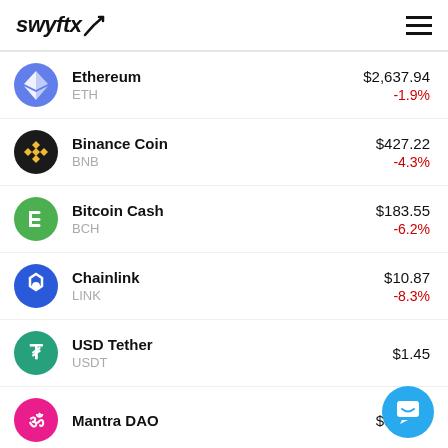swyftx
Ethereum ETH $2,637.94 -1.9%
Binance Coin BNB $427.22 -4.3%
Bitcoin Cash BCH $183.55 -6.2%
Chainlink LINK $10.87 -8.3%
USD Tether USDT $1.45
Mantra DAO $0.0761